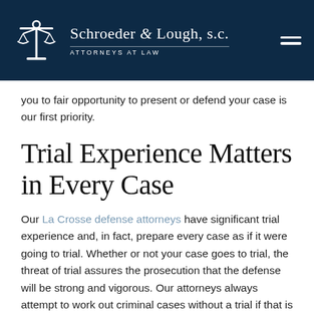Schroeder & Lough, s.c. — Attorneys at Law
you to fair opportunity to present or defend your case is our first priority.
Trial Experience Matters in Every Case
Our La Crosse defense attorneys have significant trial experience and, in fact, prepare every case as if it were going to trial. Whether or not your case goes to trial, the threat of trial assures the prosecution that the defense will be strong and vigorous. Our attorneys always attempt to work out criminal cases without a trial if that is in the client's best interest — and take cases to trial where the client is not satisfied